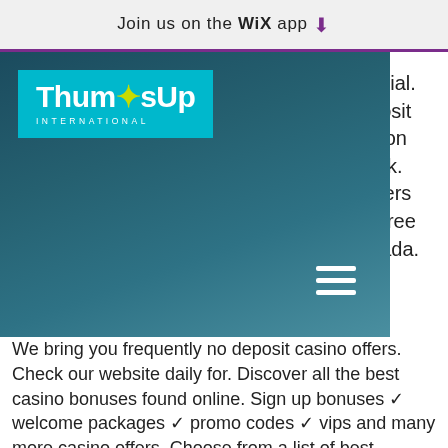Join us on the WiX app ⬇
[Figure (logo): ThumbsUp International logo — white text on cyan/teal background]
special. deposit ns on eek. layers or free anada.
We bring you frequently no deposit casino offers. Check our website daily for. Discover all the best casino bonuses found online. Sign up bonuses ✓ welcome packages ✓ promo codes ✓ vips and many more casino offers. Choose from a list of best welcome casino bonuses and get extra bonus money added to your first deposit. Sign up bonus offers for new. No deposit bonus codes from our accredited casinos 2022 monthly updated. Get the latest ndb's: free spins,welcome ,exclusive ,free play codes. Please stay tuned, as we are on the way to add more free spin casino deals for you.